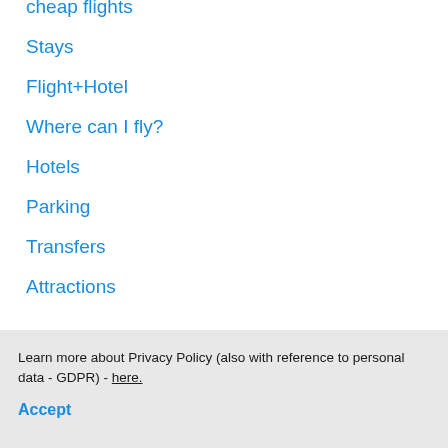cheap flights
Stays
Flight+Hotel
Where can I fly?
Hotels
Parking
Transfers
Attractions
Learn more
Mobile App
Airlines
Delta Airlines
Learn more about Privacy Policy (also with reference to personal data - GDPR) - here.
Accept